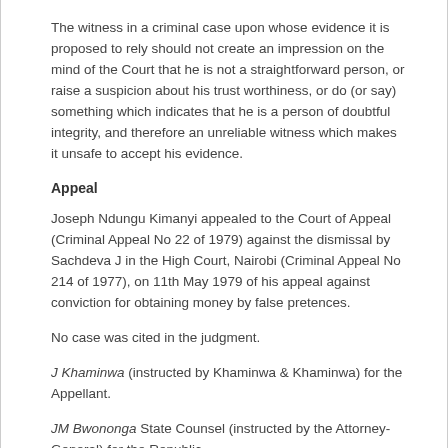The witness in a criminal case upon whose evidence it is proposed to rely should not create an impression on the mind of the Court that he is not a straightforward person, or raise a suspicion about his trust worthiness, or do (or say) something which indicates that he is a person of doubtful integrity, and therefore an unreliable witness which makes it unsafe to accept his evidence.
Appeal
Joseph Ndungu Kimanyi appealed to the Court of Appeal (Criminal Appeal No 22 of 1979) against the dismissal by Sachdeva J in the High Court, Nairobi (Criminal Appeal No 214 of 1977), on 11th May 1979 of his appeal against conviction for obtaining money by false pretences.
No case was cited in the judgment.
J Khaminwa (instructed by Khaminwa & Khaminwa) for the Appellant.
JM Bwononga State Counsel (instructed by the Attorney-General) for the Republic